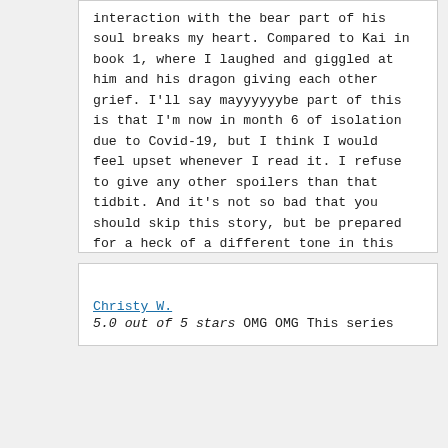interaction with the bear part of his soul breaks my heart. Compared to Kai in book 1, where I laughed and giggled at him and his dragon giving each other grief. I'll say mayyyyyybe part of this is that I'm now in month 6 of isolation due to Covid-19, but I think I would feel upset whenever I read it. I refuse to give any other spoilers than that tidbit. And it's not so bad that you should skip this story, but be prepared for a heck of a different tone in this one that the previous 2, and know that they do get their happily ever after in the end,
Christy W.
5.0 out of 5 stars OMG OMG This series